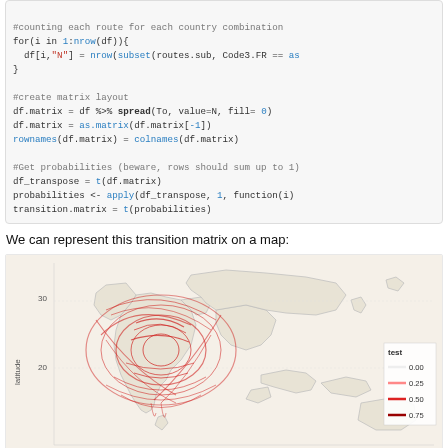#counting each route for each country combination
for(i in 1:nrow(df)){
  df[i,"N"] = nrow(subset(routes.sub, Code3.FR == as
}

#create matrix layout
df.matrix = df %>% spread(To, value=N, fill= 0)
df.matrix = as.matrix(df.matrix[-1])
rownames(df.matrix) = colnames(df.matrix)

#Get probabilities (beware, rows should sum up to 1)
df_transpose = t(df.matrix)
probabilities <- apply(df_transpose, 1, function(i)
transition.matrix = t(probabilities)
We can represent this transition matrix on a map:
[Figure (map): A map showing Asia/South Asia region with curved red lines representing transition probabilities between countries, forming a dense pattern over India and surrounding regions. A legend labeled 'test' shows values 0.00, 0.25, 0.50, 0.75 with corresponding red color intensities. Axes show latitude (~20-30) and longitude. The map background is beige/tan with light gray country borders.]